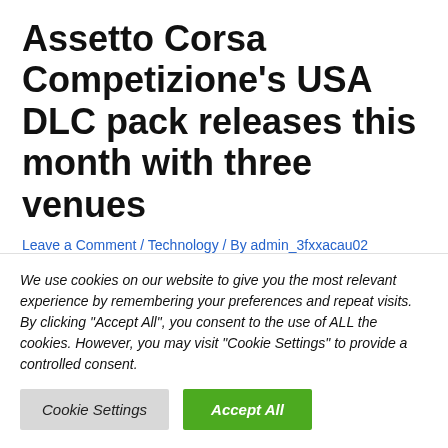Assetto Corsa Competizione's USA DLC pack releases this month with three venues
Leave a Comment / Technology / By admin_3fxxacau02
Circuit of the Americas, Watkins Glen International and Indianapolis Motor Speedway Road Course will be coming to...
We use cookies on our website to give you the most relevant experience by remembering your preferences and repeat visits. By clicking "Accept All", you consent to the use of ALL the cookies. However, you may visit "Cookie Settings" to provide a controlled consent.